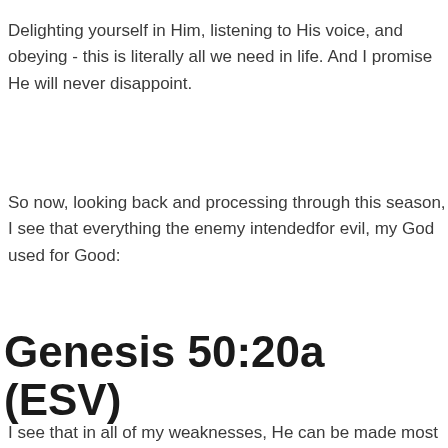Delighting yourself in Him, listening to His voice, and obeying - this is literally all we need in life. And I promise He will never disappoint.
So now, looking back and processing through this season, I see that everything the enemy intendedfor evil, my God used for Good:
Genesis 50:20a (ESV)
I see that in all of my weaknesses, He can be made most strong,